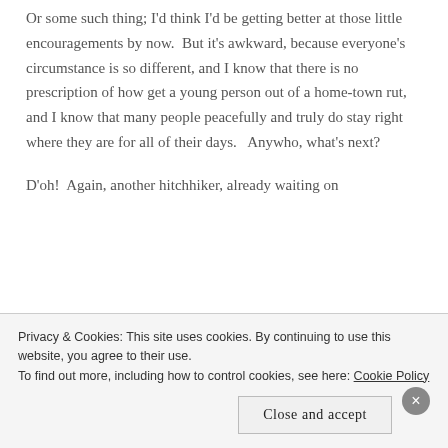you've got nothing to lose.
Or some such thing; I'd think I'd be getting better at those little encouragements by now.  But it's awkward, because everyone's circumstance is so different, and I know that there is no prescription of how get a young person out of a home-town rut, and I know that many people peacefully and truly do stay right where they are for all of their days.   Anywho, what's next?
D'oh!  Again, another hitchhiker, already waiting on
Privacy & Cookies: This site uses cookies. By continuing to use this website, you agree to their use.
To find out more, including how to control cookies, see here: Cookie Policy